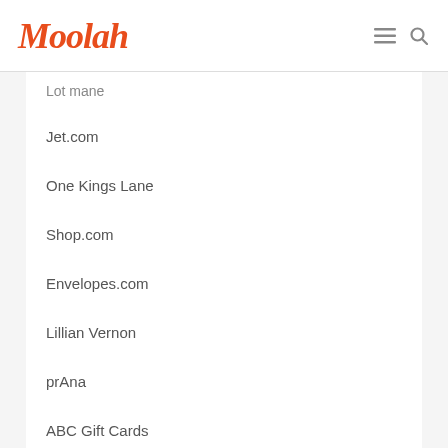Moolah
Lot mane
Jet.com
One Kings Lane
Shop.com
Envelopes.com
Lillian Vernon
prAna
ABC Gift Cards
View All Stores